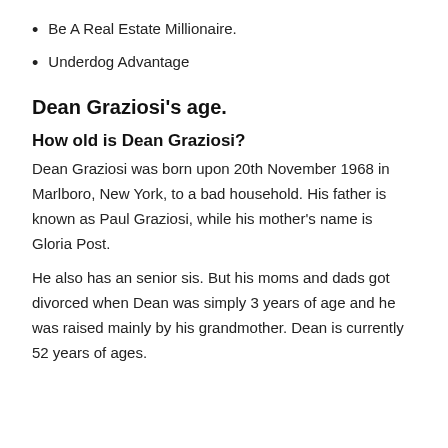Be A Real Estate Millionaire.
Underdog Advantage
Dean Graziosi's age.
How old is Dean Graziosi?
Dean Graziosi was born upon 20th November 1968 in Marlboro, New York, to a bad household. His father is known as Paul Graziosi, while his mother's name is Gloria Post.
He also has an senior sis. But his moms and dads got divorced when Dean was simply 3 years of age and he was raised mainly by his grandmother. Dean is currently 52 years of ages.